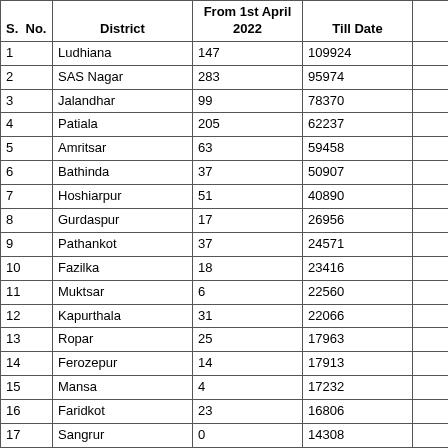| S. No. | District | From 1st April 2022 | Till Date |  |
| --- | --- | --- | --- | --- |
| 1 | Ludhiana | 147 | 109924 |  |
| 2 | SAS Nagar | 283 | 95974 |  |
| 3 | Jalandhar | 99 | 78370 |  |
| 4 | Patiala | 205 | 62237 |  |
| 5 | Amritsar | 63 | 59458 |  |
| 6 | Bathinda | 37 | 50907 |  |
| 7 | Hoshiarpur | 51 | 40890 |  |
| 8 | Gurdaspur | 17 | 26956 |  |
| 9 | Pathankot | 37 | 24571 |  |
| 10 | Fazilka | 18 | 23416 |  |
| 11 | Muktsar | 6 | 22560 |  |
| 12 | Kapurthala | 31 | 22066 |  |
| 13 | Ropar | 25 | 17963 |  |
| 14 | Ferozepur | 14 | 17913 |  |
| 15 | Mansa | 4 | 17232 |  |
| 16 | Faridkot | 23 | 16806 |  |
| 17 | Sangrur | 0 | 14308 |  |
| 18 | SBS Nagar | 19 | 13421 |  |
| 19 | FG Sahib | 8 | 11842 |  |
| 20 | Moga | 5 | 10993 |  |